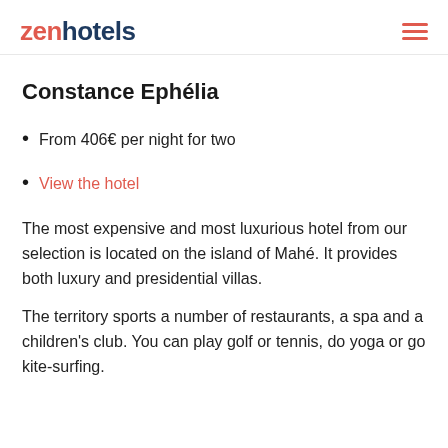zenhotels
Constance Ephélia
From 406€ per night for two
View the hotel
The most expensive and most luxurious hotel from our selection is located on the island of Mahé. It provides both luxury and presidential villas.
The territory sports a number of restaurants, a spa and a children's club. You can play golf or tennis, do yoga or go kite-surfing.